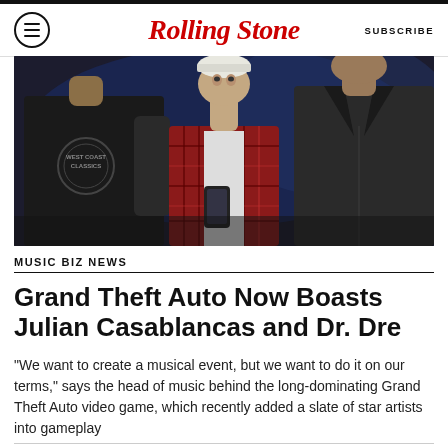Rolling Stone — SUBSCRIBE
[Figure (photo): Screenshot from Grand Theft Auto video game showing three characters: a man in a black West Coast Classics t-shirt on the left, an older man in a red plaid shirt holding a phone in the center, and a man in a dark jacket on the right, set against a dark blue interior background.]
MUSIC BIZ NEWS
Grand Theft Auto Now Boasts Julian Casablancas and Dr. Dre
"We want to create a musical event, but we want to do it on our terms," says the head of music behind the long-dominating Grand Theft Auto video game, which recently added a slate of star artists into gameplay